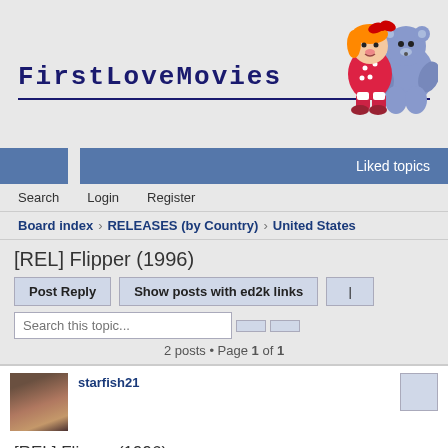[Figure (logo): FirstLoveMovies website logo with cartoon girl and bear mascot on upper right]
Liked topics
Search   Login   Register
Board index › RELEASES (by Country) › United States
[REL] Flipper (1996)
Post Reply   Show posts with ed2k links
Search this topic...
2 posts • Page 1 of 1
starfish21
[REL] Flipper (1996)